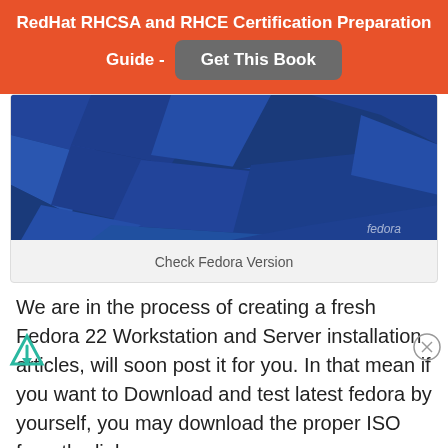RedHat RHCSA and RHCE Certification Preparation Guide - Get This Book
[Figure (screenshot): Fedora blue geometric/polygonal wallpaper screenshot with 'fedora' text in bottom right corner]
Check Fedora Version
We are in the process of creating a fresh Fedora 22 Workstation and Server installation articles, will soon post it for you. In that mean if you want to Download and test latest fedora by yourself, you may download the proper ISO from the link